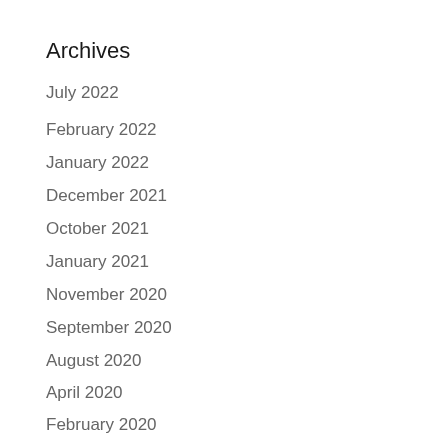Archives
July 2022
February 2022
January 2022
December 2021
October 2021
January 2021
November 2020
September 2020
August 2020
April 2020
February 2020
January 2020
November 2019